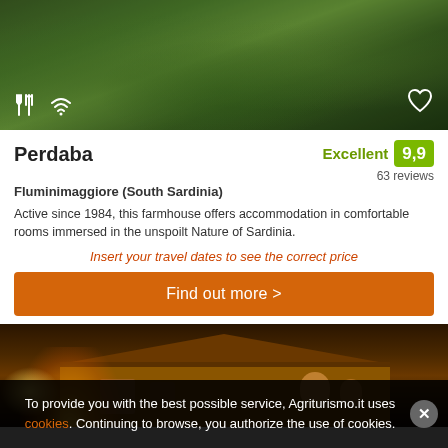[Figure (photo): Outdoor daytime photo of a green forested area with trees, serving as the top banner image for a rural accommodation listing. Icons for restaurant/fork and WiFi are overlaid on the bottom left, and a heart (favorite) icon on the bottom right.]
Perdaba
Fluminimaggiore (South Sardinia)
Excellent 9,9
63 reviews
Active since 1984, this farmhouse offers accommodation in comfortable rooms immersed in the unspoilt Nature of Sardinia.
Insert your travel dates to see the correct price
Find out more >
[Figure (photo): Night-time photo of a farmhouse building illuminated by warm golden/orange lights, set against a dark sky.]
To provide you with the best possible service, Agriturismo.it uses cookies. Continuing to browse, you authorize the use of cookies.